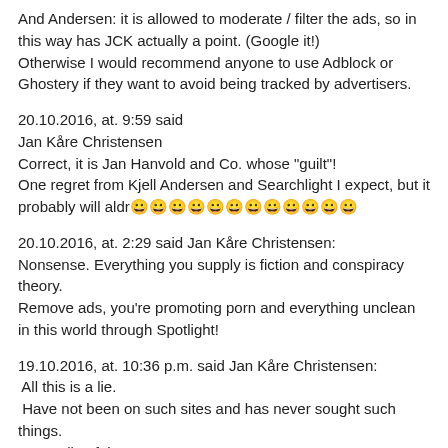And Andersen: it is allowed to moderate / filter the ads, so in this way has JCK actually a point. (Google it!) Otherwise I would recommend anyone to use Adblock or Ghostery if they want to avoid being tracked by advertisers.
20.10.2016, at. 9:59 said
Jan Kåre Christensen
Correct, it is Jan Hanvold and Co. whose "guilt"!
One regret from Kjell Andersen and Searchlight I expect, but it probably will aldr😀😀😀😀😀😀😀😀😀😀😀😀
20.10.2016, at. 2:29 said Jan Kåre Christensen:
Nonsense. Everything you supply is fiction and conspiracy theory.
Remove ads, you're promoting porn and everything unclean in this world through Spotlight!
19.10.2016, at. 10:36 p.m. said Jan Kåre Christensen:
All this is a lie.
Have not been on such sites and has never sought such things.
Spreading false rumors.